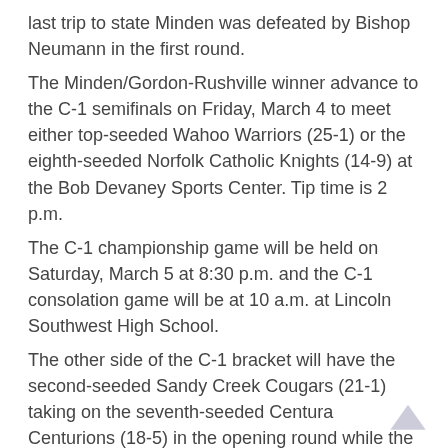last trip to state Minden was defeated by Bishop Neumann in the first round.
The Minden/Gordon-Rushville winner advance to the C-1 semifinals on Friday, March 4 to meet either top-seeded Wahoo Warriors (25-1) or the eighth-seeded Norfolk Catholic Knights (14-9) at the Bob Devaney Sports Center. Tip time is 2 p.m.
The C-1 championship game will be held on Saturday, March 5 at 8:30 p.m. and the C-1 consolation game will be at 10 a.m. at Lincoln Southwest High School.
The other side of the C-1 bracket will have the second-seeded Sandy Creek Cougars (21-1) taking on the seventh-seeded Centura Centurions (18-5) in the opening round while the third-seeded Hastings St. Cecilia Hawkettes (19-4) face the sixth-seeded Ashland-Greenwood Bluejays (16-6).